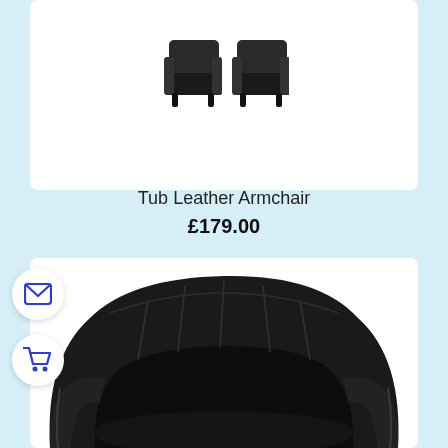[Figure (photo): Two black tub leather armchairs shown as small thumbnails in a white product card at the top of the page]
Tub Leather Armchair
£179.00
[Figure (photo): Close-up photo of a black tub leather armchair with vertical stitching on the backrest, shown in a white product card]
[Figure (illustration): Email icon button (envelope) in blue, circular white background]
[Figure (illustration): Shopping cart icon in blue, circular white background]